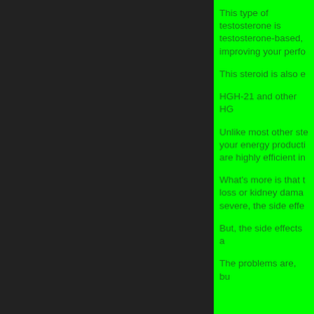This type of testosterone is testosterone-based, improving your perfo…
This steroid is also e…
HGH-21 and other HG…
Unlike most other ste… your energy producti… are highly efficient in…
What's more is that t… loss or kidney dama… severe, the side effe…
But, the side effects a…
The problems are, bu…